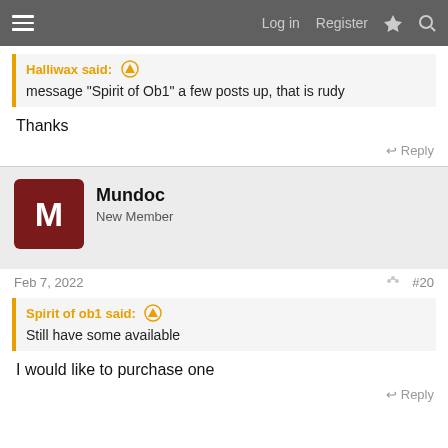Log in  Register
Halliwax said: ↑
message "Spirit of Ob1" a few posts up, that is rudy
Thanks
↩ Reply
Mundoc
New Member
Feb 7, 2022
#20
Spirit of ob1 said: ↑
Still have some available
I would like to purchase one
↩ Reply